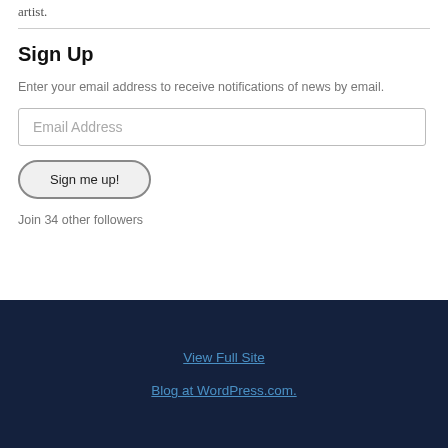artist.
Sign Up
Enter your email address to receive notifications of news by email.
Email Address
Sign me up!
Join 34 other followers
View Full Site
Blog at WordPress.com.